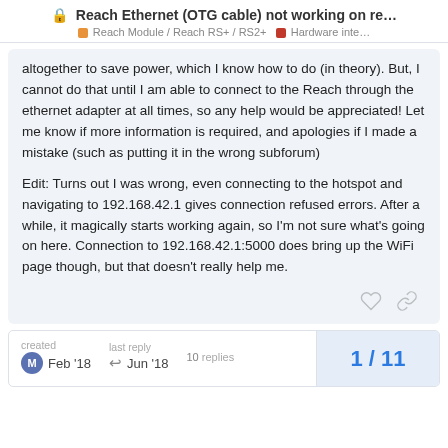🔒 Reach Ethernet (OTG cable) not working on re... Reach Module / Reach RS+ / RS2+ | Hardware inte…
altogether to save power, which I know how to do (in theory). But, I cannot do that until I am able to connect to the Reach through the ethernet adapter at all times, so any help would be appreciated! Let me know if more information is required, and apologies if I made a mistake (such as putting it in the wrong subforum)
Edit: Turns out I was wrong, even connecting to the hotspot and navigating to 192.168.42.1 gives connection refused errors. After a while, it magically starts working again, so I'm not sure what's going on here. Connection to 192.168.42.1:5000 does bring up the WiFi page though, but that doesn't really help me.
created Feb '18 | last reply Jun '18 | 10 replies | 1 / 11